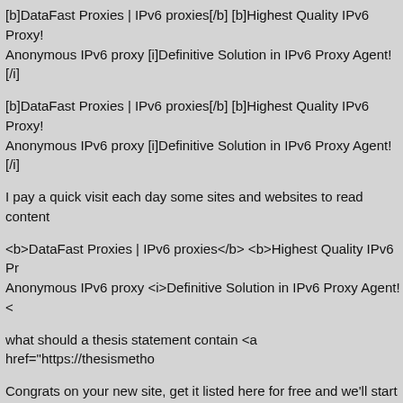[b]DataFast Proxies | IPv6 proxies[/b] [b]Highest Quality IPv6 Proxy! Anonymous IPv6 proxy [i]Definitive Solution in IPv6 Proxy Agent![/i]
[b]DataFast Proxies | IPv6 proxies[/b] [b]Highest Quality IPv6 Proxy! Anonymous IPv6 proxy [i]Definitive Solution in IPv6 Proxy Agent![/i]
I pay a quick visit each day some sites and websites to read content
<b>DataFast Proxies | IPv6 proxies</b> <b>Highest Quality IPv6 Pr Anonymous IPv6 proxy <i>Definitive Solution in IPv6 Proxy Agent!</
what should a thesis statement contain <a href="https://thesismetho
Congrats on your new site, get it listed here for free and we'll start se
[b]DataFast Proxies | IPv6 proxies[/b] [b]Highest Quality IPv6 Proxy! Anonymous IPv6 proxy [i]Definitive Solution in IPv6 Proxy Agent![/i]
<a href=https://www.binance.com/en/activity/referral-entry/CPA?fron income from cryptocurrencies?</a>
Hello Members, I wonder how to reach the consciousness of the Ru RUSSIAN SOLDIERS DIE and military equipment is being destroye build and create a new, better world. WAR is suffering, crying, sadne that Vladimir Putin should retire, bask in the sun somewhere in warn idea to select random companies from Russia on Google business c people in the country aware that Putin is doing wrong. Please take